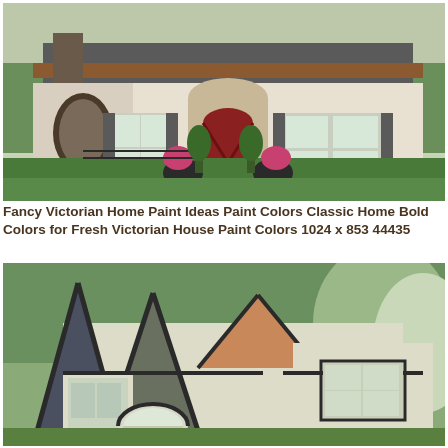[Figure (photo): Photo of a classic Victorian-style brick home with white/cream painted exterior, red arched front door, dark shutters, manicured hedges, lush green landscaping, and a curved driveway. Pink flowers flank the entrance.]
Fancy Victorian Home Paint Ideas Paint Colors Classic Home Bold Colors for Fresh Victorian House Paint Colors 1024 x 853 44435
[Figure (photo): Photo of a Victorian-style home roofline with multiple steep pointed turret roofs, dark trim accents, cream/light yellow siding, white decorative trim, dormer windows, and green trees in the background.]